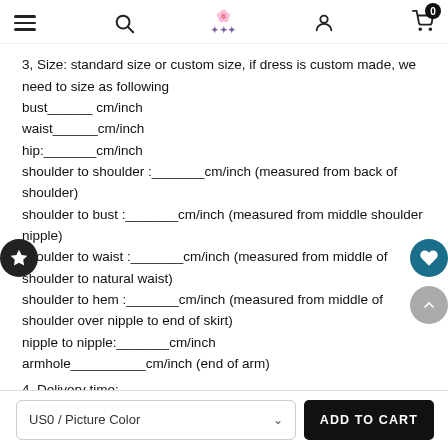Navigation bar with hamburger menu, search icon, logo, user icon, and cart (0 items)
3, Size: standard size or custom size, if dress is custom made, we need to size as following
bust______ cm/inch
waist______cm/inch
hip:_______cm/inch
shoulder to shoulder :_______cm/inch (measured from back of shoulder)
shoulder to bust :_______cm/inch (measured from middle shoulder nipple)
shoulder to waist :_______cm/inch (measured from middle of shoulder to natural waist)
shoulder to hem :_______cm/inch (measured from middle of shoulder over nipple to end of skirt)
nipple to nipple:_______cm/inch
armhole__________cm/inch (end of arm)
4. Delivery time:
US0 / Picture Color
ADD TO CART